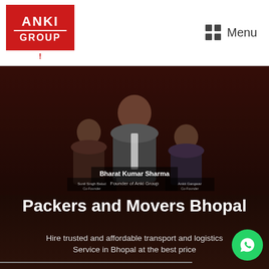[Figure (logo): Anki Group logo - red rectangle with ANKI GROUP text in white, with an exclamation mark below]
Menu
[Figure (photo): Photo of Bharat Kumar Sharma, Founder of Anki Group, standing in center wearing a suit, with two other team members on either side]
Packers and Movers Bhopal
Hire trusted and affordable transport and logistics Service in Bhopal at the best price
Head Office : 9111583233
[Figure (logo): WhatsApp icon button - green circle with WhatsApp logo]